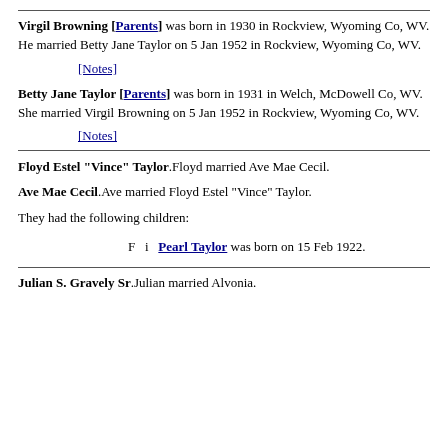Virgil Browning [Parents] was born in 1930 in Rockview, Wyoming Co, WV. He married Betty Jane Taylor on 5 Jan 1952 in Rockview, Wyoming Co, WV.
[Notes]
Betty Jane Taylor [Parents] was born in 1931 in Welch, McDowell Co, WV. She married Virgil Browning on 5 Jan 1952 in Rockview, Wyoming Co, WV.
[Notes]
Floyd Estel "Vince" Taylor.Floyd married Ave Mae Cecil.
Ave Mae Cecil.Ave married Floyd Estel "Vince" Taylor.
They had the following children:
F  i  Pearl Taylor was born on 15 Feb 1922.
Julian S. Gravely Sr.Julian married Alvonia.